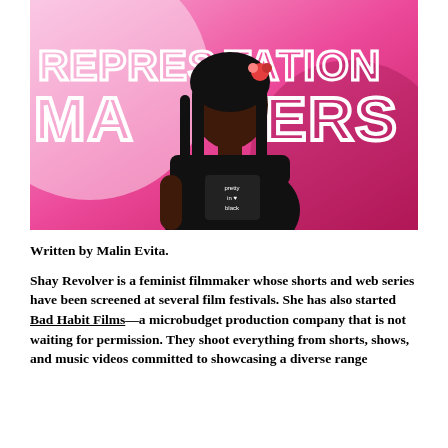[Figure (photo): A Black woman with braided hair and a red flower, wearing a black t-shirt that reads 'pretty in black', standing against a bright pink/magenta background with large white outlined text reading 'REPRESENTATION MATTERS' partially obscured behind her.]
Written by Malin Evita.
Shay Revolver is a feminist filmmaker whose shorts and web series have been screened at several film festivals. She has also started Bad Habit Films—a microbudget production company that is not waiting for permission. They shoot everything from shorts, shows, and music videos committed to showcasing a diverse range